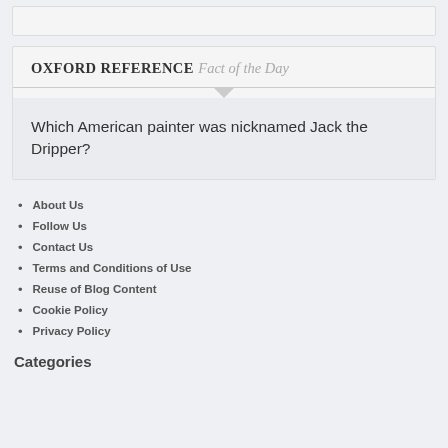OXFORD REFERENCE Fact of the Day
Which American painter was nicknamed Jack the Dripper?
About Us
Follow Us
Contact Us
Terms and Conditions of Use
Reuse of Blog Content
Cookie Policy
Privacy Policy
Categories